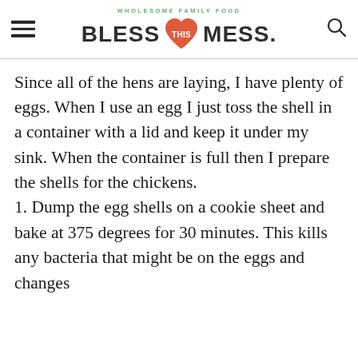WHOLESOME FAMILY FOOD — BLESS THIS MESS.
Since all of the hens are laying, I have plenty of eggs. When I use an egg I just toss the shell in a container with a lid and keep it under my sink. When the container is full then I prepare the shells for the chickens.
1. Dump the egg shells on a cookie sheet and bake at 375 degrees for 30 minutes. This kills any bacteria that might be on the eggs and changes